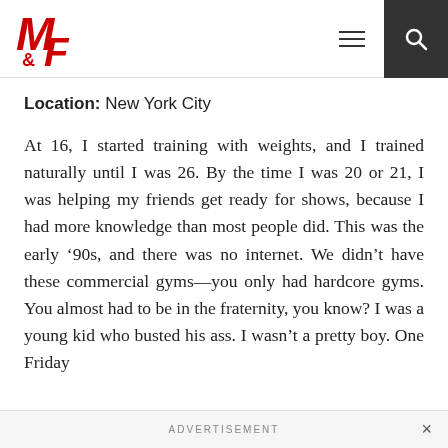M&F logo, hamburger menu, search icon
Location: New York City
At 16, I started training with weights, and I trained naturally until I was 26. By the time I was 20 or 21, I was helping my friends get ready for shows, because I had more knowledge than most people did. This was the early ’90s, and there was no internet. We didn’t have these commercial gyms—you only had hardcore gyms. You almost had to be in the fraternity, you know? I was a young kid who busted his ass. I wasn’t a pretty boy. One Friday
ADVERTISEMENT ×